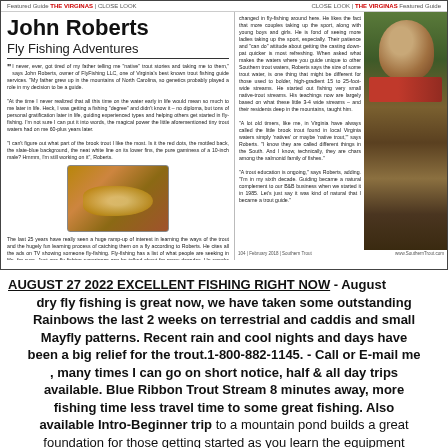Featured Guide THE VIRGINAS | CLOSE LOOK      CLOSE LOOK | THE VIRGINAS Featured Guide
John Roberts
Fly Fishing Adventures
I never, ever, got tired of my father telling me "native" trout stories and taking me to them, says John Roberts, owner of FlyFishing LLC, one of Virginia's best known trout fishing guide services. My father grew up in the mountains of North Carolina, so genetics probably played a role in my decision to be a guide. At the time I never realized that all this time on the water early in life would mean so much to me later in life. Heck, I was getting a fishing degree and didn't know it - no diploma, but lots of personal gratification later in life, guiding experienced types and helping others get started in fly-fishing. I'm not sure I can put it into words, the magical power the little aforementioned tiny trout waters had on me 60-plus years later. I can't figure out what part of the brook trout I like the most. Is it the red dots, the mottled back, the slate-blue background, the neat white line on its lower fins, the pure gaminess of a 10-inch male? Hmmm, I'm still working on it, Roberts. The last 25 years have really seen a huge ramp-up of interest in learning the ways of the trout and the hugely fun learning process of catching them on a fly according to Roberts. He cites all the ads on TV showing someone fly-fishing. Fly-fishing has a list of what people are seeking in life, for sure. Just one fly-fishing experience can be talked about for many decades. He speaks with an older point-of-view on how things have changed in fly-fishing around here. He likes the fact that more couples taking up the sport, along with young boys and girls. He is fond of seeing more ladies taking up the sport, especially. Their patience and can do attitude about getting the casting down-pat quicker is most refreshing. When asked what makes the waters where you guide unique to other Southern trout waters, Roberts says the size of some trout water, is one thing that might be different for those used to bolder, high-gradient 15 to 25-foot-wide streams. He started out fishing very small native-trout streams. His teachings now are largely based on what these little 3-4 wide streams - and their residents deep in the mountains, taught him. A lot old timers, like me, in Virginia have always called the little brook trout found in local Virginia waters simply natives or maybe native trout, says Roberts. I know they are called different things in the South. And I know, technically, they are chars among the salmonid family of fishes. A trout education is ongoing, says Roberts, adding. I'm in my sixth decade. Guiding became a natural complement to our B&B business when we started it in 1985. Let's just say it was kind of natural that I became a trout guide.
[Figure (photo): Photograph of a trout fish held in hands/net]
[Figure (photo): Photo of John Roberts, a man in outdoor gear/vest working with a fish]
www.SouthernTrout.com | Southern Trout | March 2018 | 103      104 | February 2018 | Southern Trout | www.SouthernTrout.com
AUGUST 27 2022  EXCELLENT FISHING RIGHT NOW - August dry fly fishing is great now, we have taken some outstanding Rainbows the last 2 weeks on terrestrial and caddis and small Mayfly patterns. Recent rain and cool nights and days have been a big relief for the trout.1-800-882-1145. - Call or E-mail me , many times I can go on short notice, half & all day trips available. Blue Ribbon Trout Stream 8 minutes away, more fishing time less travel time to some great fishing. Also available Intro-Beginner trip to a mountain pond builds a great foundation for those getting started as you learn the equipment